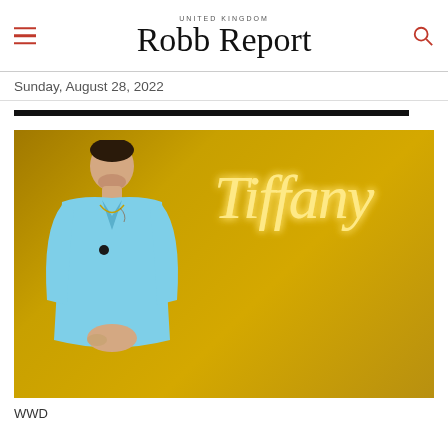UNITED KINGDOM Robb Report
Sunday, August 28, 2022
[Figure (photo): Man in light blue blazer standing in front of a golden/yellow wall with an illuminated neon 'Tiffany' script sign glowing in warm yellow-white light behind him.]
WWD